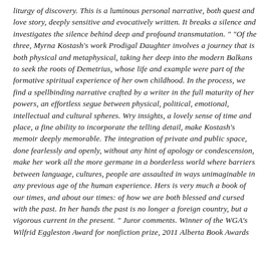liturgy of discovery. This is a luminous personal narrative, both quest and love story, deeply sensitive and evocatively written. It breaks a silence and investigates the silence behind deep and profound transmutation. " "Of the three, Myrna Kostash's work Prodigal Daughter involves a journey that is both physical and metaphysical, taking her deep into the modern Balkans to seek the roots of Demetrius, whose life and example were part of the formative spiritual experience of her own childhood. In the process, we find a spellbinding narrative crafted by a writer in the full maturity of her powers, an effortless segue between physical, political, emotional, intellectual and cultural spheres. Wry insights, a lovely sense of time and place, a fine ability to incorporate the telling detail, make Kostash's memoir deeply memorable. The integration of private and public space, done fearlessly and openly, without any hint of apology or condescension, make her work all the more germane in a borderless world where barriers between language, cultures, people are assaulted in ways unimaginable in any previous age of the human experience. Hers is very much a book of our times, and about our times: of how we are both blessed and cursed with the past. In her hands the past is no longer a foreign country, but a vigorous current in the present. " Juror comments. Winner of the WGA's Wilfrid Eggleston Award for nonfiction prize, 2011 Alberta Book Awards